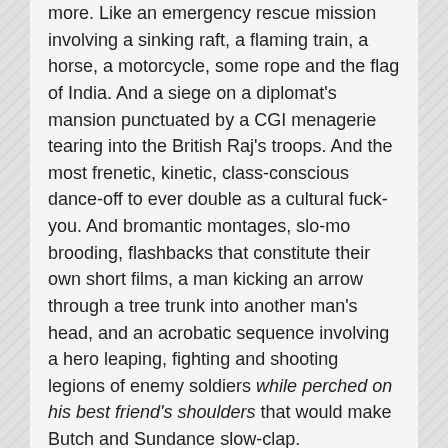more. Like an emergency rescue mission involving a sinking raft, a flaming train, a horse, a motorcycle, some rope and the flag of India. And a siege on a diplomat's mansion punctuated by a CGI menagerie tearing into the British Raj's troops. And the most frenetic, kinetic, class-conscious dance-off to ever double as a cultural fuck-you. And bromantic montages, slo-mo brooding, flashbacks that constitute their own short films, a man kicking an arrow through a tree trunk into another man's head, and an acrobatic sequence involving a hero leaping, fighting and shooting legions of enemy soldiers while perched on his best friend's shoulders that would make Butch and Sundance slow-clap.
A laudatory review in The New Yorker also is worth reading. It notes that while RRR is wildly nationalistic (I don't like Prime Minister Modi's Hindu nationalism, but I'm sure we both loved RRR), it does so in an appealing fashion that transcends modern politics.
When it comes to cinematic propaganda, blatant is better than insidious. Overt advocacy has the